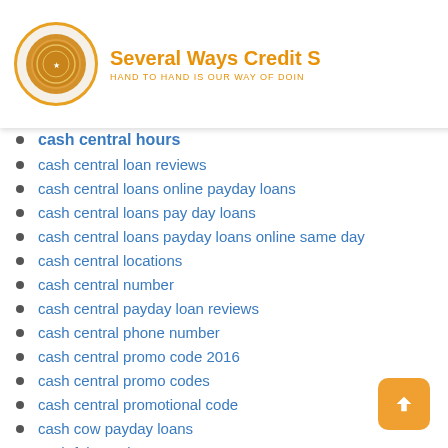Several Ways Credit S… HAND TO HAND IS OUR WAY OF DOING…
cash central hours
cash central loan reviews
cash central loans online payday loans
cash central loans pay day loans
cash central loans payday loans online same day
cash central locations
cash central number
cash central payday loan reviews
cash central phone number
cash central promo code 2016
cash central promo codes
cash central promotional code
cash cow payday loans
cash fairy reviews
cash for title loans
cash installment loans near me
cash jar payday loans
cash loans approved instantly
cash loans usa